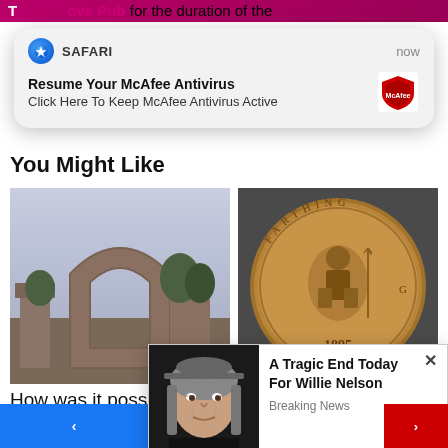[Figure (screenshot): Top partial pink/magenta bar with text 'ove Pub for the duration of the']
[Figure (screenshot): Safari browser notification popup: 'Resume Your McAfee Antivirus - Click Here To Keep McAfee Antivirus Active' with McAfee logo, timestamp 'now']
You Might Like
[Figure (photo): Archaeological stone ruins with a crescent-shaped arch against a hazy sky]
[Figure (photo): Close-up of a British farthing coin dated 1895 showing Britannia seated]
How was it possible for c... mov... Free...
The British farthing ...on ...ntent
[Figure (screenshot): Popup overlay with close X button, photo of Willie Nelson and text: 'A Tragic End Today For Willie Nelson - Breaking News']